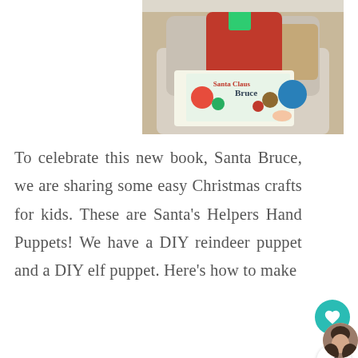[Figure (photo): A child in a red long-sleeve shirt sitting in a gray upholstered chair holding a book titled 'Santa Claus Bruce', with a green tablet visible behind them and a blue ball nearby.]
To celebrate this new book, Santa Bruce, we are sharing some easy Christmas crafts for kids. These are Santa's Helpers Hand Puppets! We have a DIY reindeer puppet and a DIY elf puppet. Here's how to make